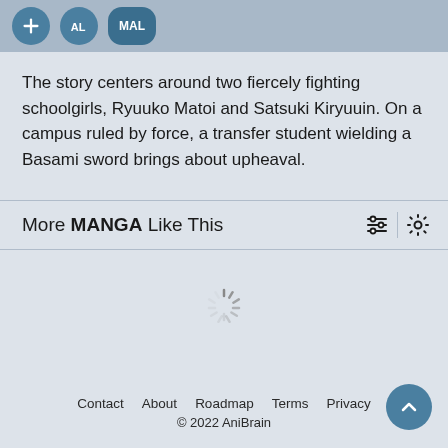[Figure (screenshot): Top banner with three circular icon buttons: a plus icon, an 'AL' icon, and a 'MAL' icon, all in teal/blue tones on a grey-blue background.]
The story centers around two fiercely fighting schoolgirls, Ryuuko Matoi and Satsuki Kiryuuin. On a campus ruled by force, a transfer student wielding a Basami sword brings about upheaval.
More MANGA Like This
[Figure (other): Loading spinner icon centered in the page area below the section header.]
Contact   About   Roadmap   Terms   Privacy
© 2022 AniBrain